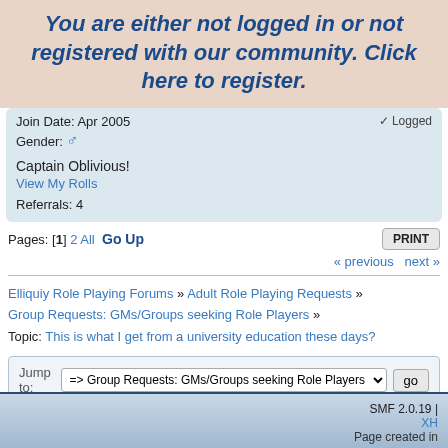You are either not logged in or not registered with our community. Click here to register.
Logged
Join Date: Apr 2005
Gender: ♂
Captain Oblivious!
View My Rolls
Referrals: 4
Pages: [1] 2 All Go Up
PRINT
« previous next »
Elliquiy Role Playing Forums » Adult Role Playing Requests » Group Requests: GMs/Groups seeking Role Players »
Topic: This is what I get from a university education these days?
Jump to: => Group Requests: GMs/Groups seeking Role Players  go
SMF 2.0.19 | XH | Page created in